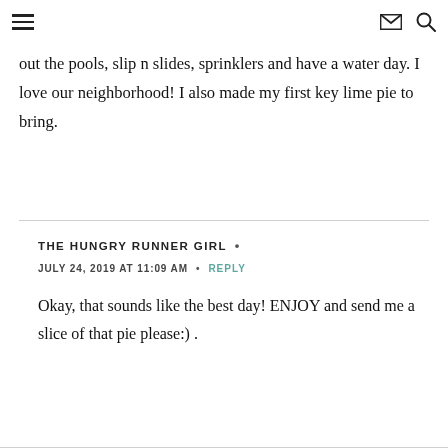[hamburger menu icon] [envelope icon] [search icon]
out the pools, slip n slides, sprinklers and have a water day. I love our neighborhood! I also made my first key lime pie to bring.
THE HUNGRY RUNNER GIRL • JULY 24, 2019 AT 11:09 AM • REPLY

Okay, that sounds like the best day! ENJOY and send me a slice of that pie please:) .